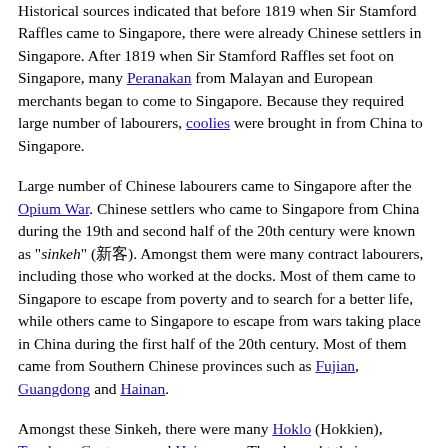Historical sources indicated that before 1819 when Sir Stamford Raffles came to Singapore, there were already Chinese settlers in Singapore. After 1819 when Sir Stamford Raffles set foot on Singapore, many Peranakan from Malayan and European merchants began to come to Singapore. Because they required large number of labourers, coolies were brought in from China to Singapore.
Large number of Chinese labourers came to Singapore after the Opium War. Chinese settlers who came to Singapore from China during the 19th and second half of the 20th century were known as "sinkeh" (新客). Amongst them were many contract labourers, including those who worked at the docks. Most of them came to Singapore to escape from poverty and to search for a better life, while others came to Singapore to escape from wars taking place in China during the first half of the 20th century. Most of them came from Southern Chinese provinces such as Fujian, Guangdong and Hainan.
Amongst these Sinkeh, there were many Hoklo (Hokkien), Teochew, Cantonese and Hainanese. They brought their own different native Chinese varieties to Singapore, including Hokkien, Teochew, Cantonese, Hakka and Hainanese. Because these varieties were mutually unintelligible, Chinese clans association were established based on their own ancestral home and dialect groups to help take care of their own people who speak the same